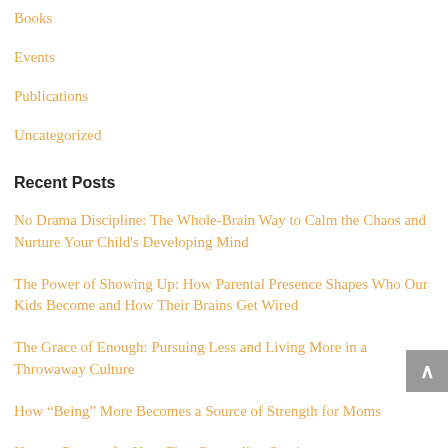Books
Events
Publications
Uncategorized
Recent Posts
No Drama Discipline: The Whole-Brain Way to Calm the Chaos and Nurture Your Child's Developing Mind
The Power of Showing Up: How Parental Presence Shapes Who Our Kids Become and How Their Brains Get Wired
The Grace of Enough: Pursuing Less and Living More in a Throwaway Culture
How “Being” More Becomes a Source of Strength for Moms
How to Prepare for Your First Counseling Session